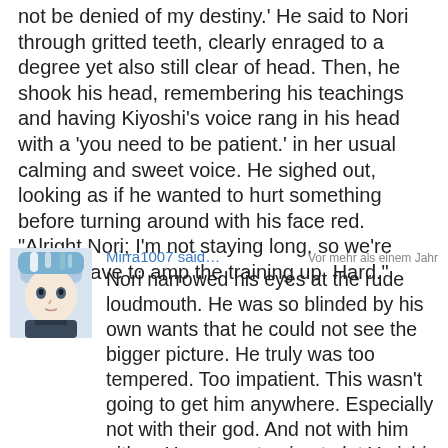not be denied of my destiny.' He said to Nori through gritted teeth, clearly enraged to a degree yet also still clear of head. Then, he shook his head, remembering his teachings and having Kiyoshi's voice rang in his head with a 'you need to be patient.' in her usual calming and sweet voice. He sighed out, looking as if he wanted to hurt something before turning around with his face red. "Alright Nori; I'm not staying long, so we're gonna have to amp the training up. Hard."
[Figure (illustration): Avatar image of user Mirra1007, showing an anime-style character with blue/white hair]
Mirra1007 said… Vor mehr als einem Jahr
Nori narrowed his eyes at the rude loudmouth. He was so blinded by his own wants that he could not see the bigger picture. He truly was too tempered. Too impatient. This wasn't going to get him anywhere. Especially not with their god. And not with him either. He was not going to let Yurichi push him. Not at all. Nomatter how angrey he got. And if he decided to leave on his own. Fine then. But he will personally make sure the powers of their god would not be in the